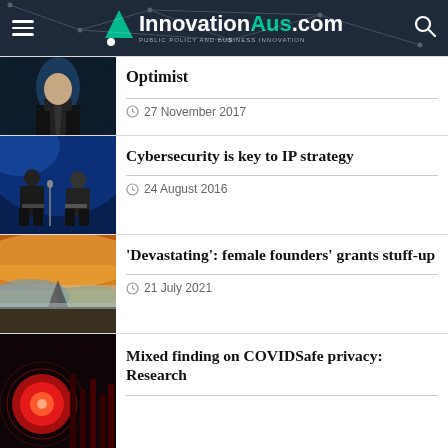InnovationAus.com — PUBLIC POLICY AND BUSINESS INNOVATION
Optimist
27 November 2017
Cybersecurity is key to IP strategy
24 August 2016
'Devastating': female founders' grants stuff-up
21 July 2021
Mixed finding on COVIDSafe privacy: Research